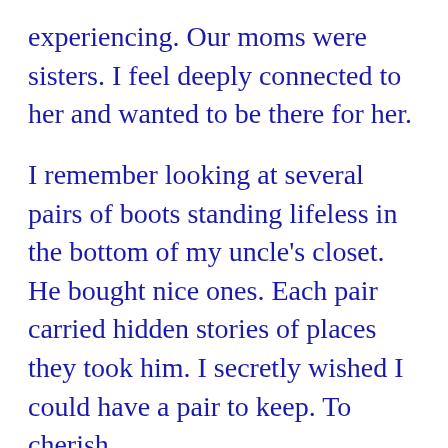experiencing.  Our moms were sisters.  I feel deeply connected to her and wanted to be there for her.
I remember looking at several pairs of boots standing lifeless in the bottom of my uncle’s closet.  He bought nice ones.  Each pair carried hidden stories of places they took him.  I secretly wished I could have a pair to keep.  To cherish.
My cousin and I tried on her dad’s boots and hats one of the work days.  We laughed and played, remembering her dad.  His boots fit us